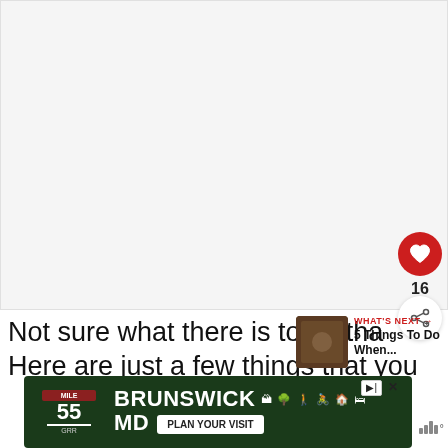[Figure (photo): Large white/light gray image area placeholder, cropped photo region at top of page]
[Figure (other): Red circular heart/like button with white heart icon, showing count 16 below, and a share button below that]
Not sure what there is to be tha… Here are just a few things that you
[Figure (other): What's Next widget: thumbnail image of brown/dark content with label WHAT'S NEXT → and title 5 Things To Do When...]
[Figure (other): Advertisement banner: Brunswick MD tourism ad with MILE 55, activity icons, and PLAN YOUR VISIT button]